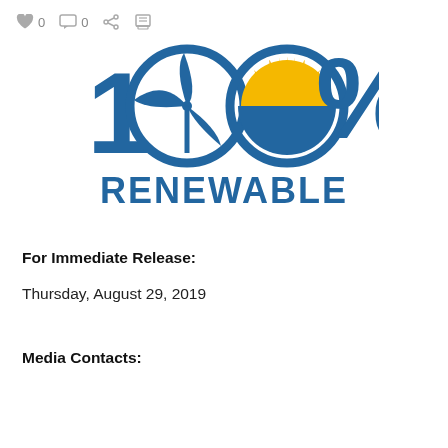♥ 0  □ 0  < ≡
[Figure (logo): 100% Renewable energy logo with wind turbine in the first zero and a sun/solar graphic in the second zero, blue and gold colors, with RENEWABLE text below in blue]
For Immediate Release:
Thursday, August 29, 2019
Media Contacts: